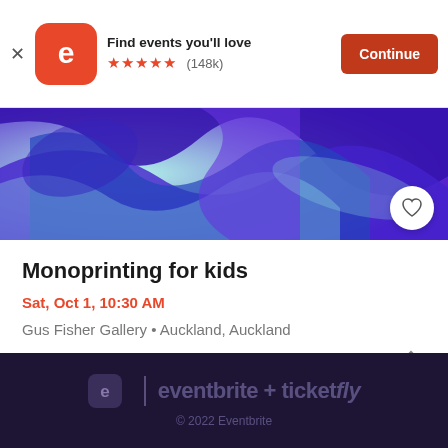[Figure (screenshot): Eventbrite app install banner with orange 'e' logo, star ratings, and Continue button]
[Figure (photo): Abstract purple and cyan swirling art used as event header image]
Monoprinting for kids
Sat, Oct 1, 10:30 AM
Gus Fisher Gallery • Auckland, Auckland
Free
eventbrite + ticketfly
© 2022 Eventbrite